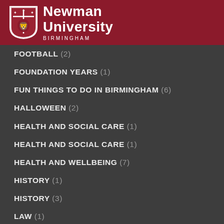Newman University Birmingham
FOOTBALL (2)
FOUNDATION YEARS (1)
FUN THINGS TO DO IN BIRMINGHAM (6)
HALLOWEEN (2)
HEALTH AND SOCIAL CARE (1)
HEALTH AND SOCIAL CARE (1)
HEALTH AND WELLBEING (7)
HISTORY (1)
HISTORY (3)
LAW (1)